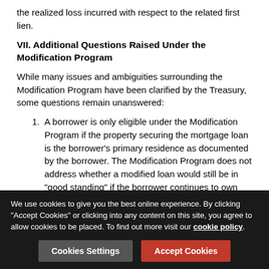the realized loss incurred with respect to the related first lien.
VII. Additional Questions Raised Under the Modification Program
While many issues and ambiguities surrounding the Modification Program have been clarified by the Treasury, some questions remain unanswered:
A borrower is only eligible under the Modification Program if the property securing the mortgage loan is the borrower's primary residence as documented by the borrower. The Modification Program does not address whether a modified loan would still be in "good standing" if the borrower continues to own the property after the modification but no longer occupies the property as his primary residence.
We use cookies to give you the best online experience. By clicking "Accept Cookies" or clicking into any content on this site, you agree to allow cookies to be placed. To find out more visit our cookie policy.